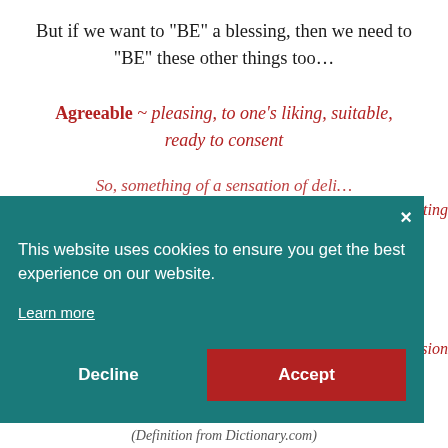But if we want to “BE” a blessing, then we need to “BE” these other things too…
Agreeable ~ pleasing, to one’s liking, suitable, ready to consent
[Figure (screenshot): Cookie consent banner overlay with teal background. Contains text: 'This website uses cookies to ensure you get the best experience on our website.' with 'Learn more' link, and 'Decline' and 'Accept' buttons. A close (x) button is in the top right corner.]